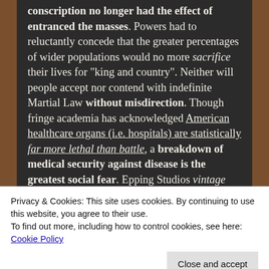conscription no longer had the effect of entranced the masses. Powers had to reluctantly concede that the greater percentages of wider populations would no more sacrifice their lives for “king and country”. Neither will people accept nor contend with indefinite Martial Law without misdirection. Though fringe academia has acknowledged American healthcare organs (i.e. hospitals) are statistically far more lethal than battle, a breakdown of medical security against disease is the greatest social fear. Epping Studios vintage “Carry On” movies mocked British hypochondria. The only
Privacy & Cookies: This site uses cookies. By continuing to use this website, you agree to their use.
To find out more, including how to control cookies, see here: Cookie Policy
Close and accept